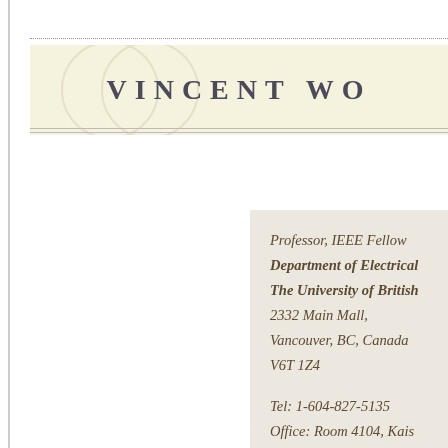VINCENT WO
Professor, IEEE Fellow
Department of Electrical
The University of British
2332 Main Mall,
Vancouver, BC, Canada
V6T 1Z4

Tel: 1-604-827-5135
Office: Room 4104, Kais
e-mail: vincentw AT ece.